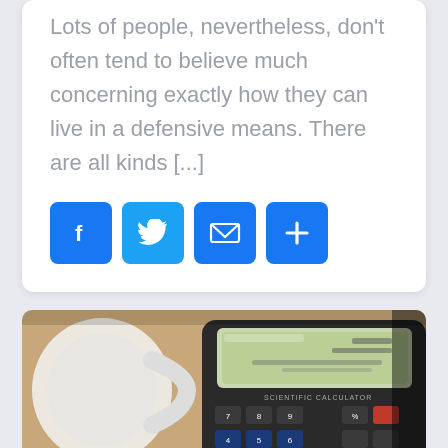Lots of people, nevertheless, don't often tend to believe much concerning exactly how they can live in a defensive means. There are all kinds [...]
[Figure (infographic): Four social sharing buttons: Facebook (f), Twitter (bird icon), Email (envelope icon), and More/Share (+) — all in blue with rounded corners]
[Figure (photo): Close-up photo of a scientific/financial calculator on a wooden desk with a white coffee mug in the background]